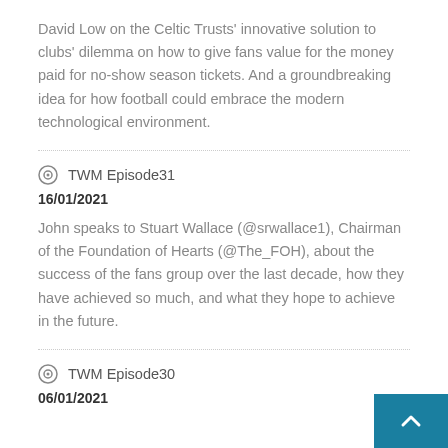David Low on the Celtic Trusts' innovative solution to clubs' dilemma on how to give fans value for the money paid for no-show season tickets. And a groundbreaking idea for how football could embrace the modern technological environment.
TWM Episode31
16/01/2021
John speaks to Stuart Wallace (@srwallace1), Chairman of the Foundation of Hearts (@The_FOH), about the success of the fans group over the last decade, how they have achieved so much, and what they hope to achieve in the future.
TWM Episode30
06/01/2021